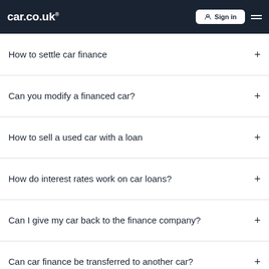car.co.uk — Sign in
How to settle car finance
Can you modify a financed car?
How to sell a used car with a loan
How do interest rates work on car loans?
Can I give my car back to the finance company?
Can car finance be transferred to another car?
How to check if you can get car finance